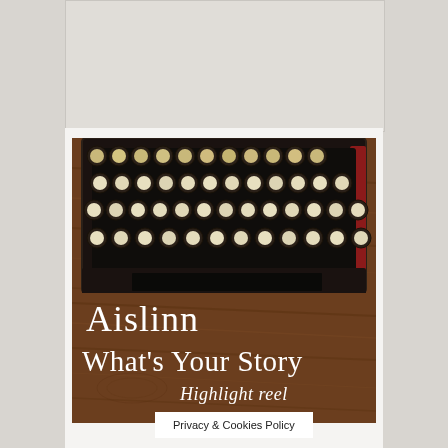[Figure (photo): Vintage typewriter keyboard viewed from above, showing rows of round keys on a black body, placed on a wooden surface. Text overlay reads 'Aislinn / What's Your Story / Highlight reel' in white serif font.]
Privacy & Cookies Policy